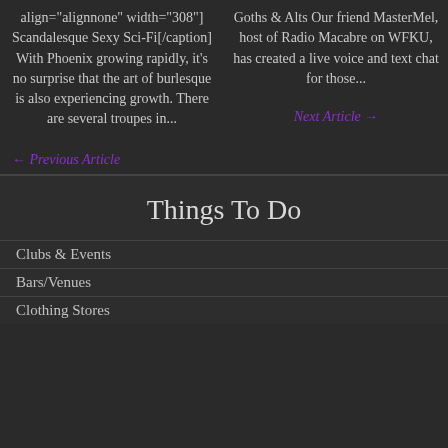align="alignnone" width="308"] Scandalesque Sexy Sci-Fi[/caption] With Phoenix growing rapidly, it's no surprise that the art of burlesque is also experiencing growth. There are several troupes in...
Goths & Alts Our friend MasterMel, host of Radio Macabre on WFKU, has created a live voice and text chat for those...
Next Article →
← Previous Article
Things To Do
Clubs & Events
Bars/Venues
Clothing Stores